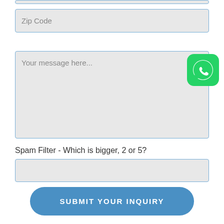[Figure (screenshot): Form fields: Zip Code input, message textarea, spam filter question and input, and submit button. WhatsApp icon overlaid on textarea.]
Zip Code
Your message here...
Spam Filter - Which is bigger, 2 or 5?
SUBMIT YOUR INQUIRY